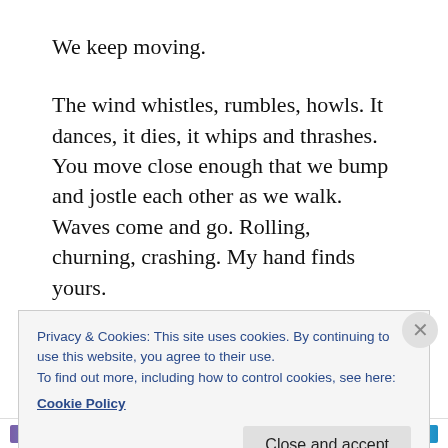We keep moving.
The wind whistles, rumbles, howls. It dances, it dies, it whips and thrashes. You move close enough that we bump and jostle each other as we walk. Waves come and go. Rolling, churning, crashing. My hand finds yours.
Then I remember.
Sand shifts. Waves throw detritus at the land and drag away whatever they can grab. Wind blasts away
Privacy & Cookies: This site uses cookies. By continuing to use this website, you agree to their use.
To find out more, including how to control cookies, see here:
Cookie Policy
Close and accept